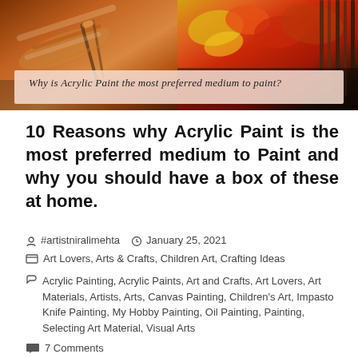[Figure (photo): Hero banner image split into two panels: left panel shows painting palette with paint tubes and brushes, right panel shows colorful oil painting strokes with brushes. A semi-transparent pinkish banner overlays the bottom with cursive text.]
Why is Acrylic Paint the most preferred medium to paint?
10 Reasons why Acrylic Paint is the most preferred medium to Paint and why you should have a box of these at home.
#artistniralimehta   January 25, 2021
Art Lovers, Arts & Crafts, Children Art, Crafting Ideas
Acrylic Painting, Acrylic Paints, Art and Crafts, Art Lovers, Art Materials, Artists, Arts, Canvas Painting, Children's Art, Impasto Knife Painting, My Hobby Painting, Oil Painting, Painting, Selecting Art Material, Visual Arts
7 Comments